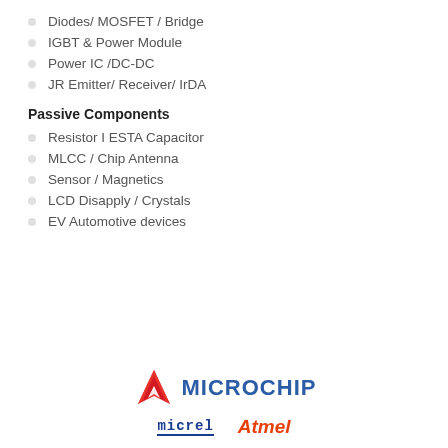Diodes/ MOSFET / Bridge
IGBT & Power Module
Power IC /DC-DC
JR Emitter/ Receiver/ IrDA
Passive Components
Resistor I ESTA Capacitor
MLCC / Chip Antenna
Sensor / Magnetics
LCD Disapply / Crystals
EV Automotive devices
[Figure (logo): Microchip logo with red M icon and blue MICROCHIP text, with Micrel and Atmel sub-logos below]